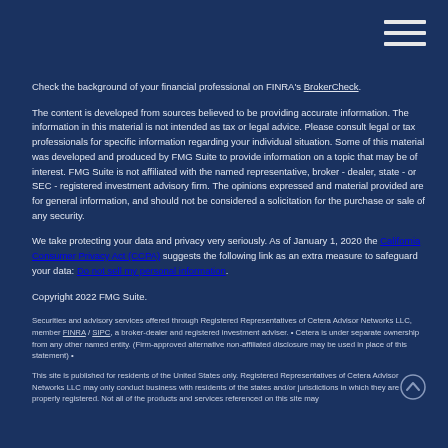Check the background of your financial professional on FINRA's BrokerCheck.
The content is developed from sources believed to be providing accurate information. The information in this material is not intended as tax or legal advice. Please consult legal or tax professionals for specific information regarding your individual situation. Some of this material was developed and produced by FMG Suite to provide information on a topic that may be of interest. FMG Suite is not affiliated with the named representative, broker - dealer, state - or SEC - registered investment advisory firm. The opinions expressed and material provided are for general information, and should not be considered a solicitation for the purchase or sale of any security.
We take protecting your data and privacy very seriously. As of January 1, 2020 the California Consumer Privacy Act (CCPA) suggests the following link as an extra measure to safeguard your data: Do not sell my personal information.
Copyright 2022 FMG Suite.
Securities and advisory services offered through Registered Representatives of Cetera Advisor Networks LLC, member FINRA / SIPC, a broker-dealer and registered investment adviser. • Cetera is under separate ownership from any other named entity. (Firm-approved alternative non-affiliated disclosure may be used in place of this statement) •
This site is published for residents of the United States only. Registered Representatives of Cetera Advisor Networks LLC may only conduct business with residents of the states and/or jurisdictions in which they are properly registered. Not all of the products and services referenced on this site may